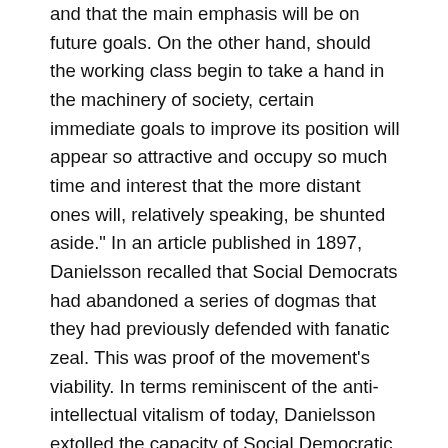and that the main emphasis will be on future goals. On the other hand, should the working class begin to take a hand in the machinery of society, certain immediate goals to improve its position will appear so attractive and occupy so much time and interest that the more distant ones will, relatively speaking, be shunted aside." In an article published in 1897, Danielsson recalled that Social Democrats had abandoned a series of dogmas that they had previously defended with fanatic zeal. This was proof of the movement's viability. In terms reminiscent of the anti-intellectual vitalism of today, Danielsson extolled the capacity of Social Democratic theory to change and adjust. The theory "is distinguished by great elasticity and demonstrates its truth and practical fecundity in that it does not exhaust its forces in vain attempts to do violence to reality, but allies itself naturally and